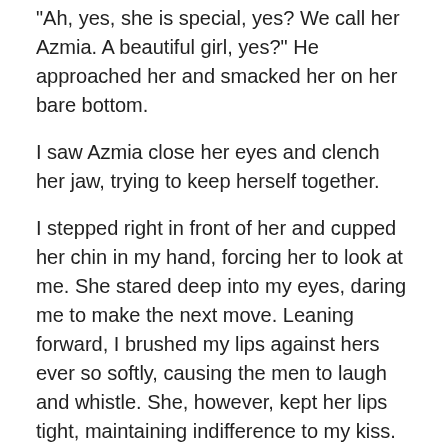“Ah, yes, she is special, yes? We call her Azmia. A beautiful girl, yes?” He approached her and smacked her on her bare bottom.
I saw Azmia close her eyes and clench her jaw, trying to keep herself together.
I stepped right in front of her and cupped her chin in my hand, forcing her to look at me. She stared deep into my eyes, daring me to make the next move. Leaning forward, I brushed my lips against hers ever so softly, causing the men to laugh and whistle. She, however, kept her lips tight, maintaining indifference to my kiss.
“Azmia,” I repeated the name. How fitting since Azmia meant brave. “Yes, very beautiful. I want her. Here’s the money you asked for.” I held out the briefcase containing $50,000 in cash.